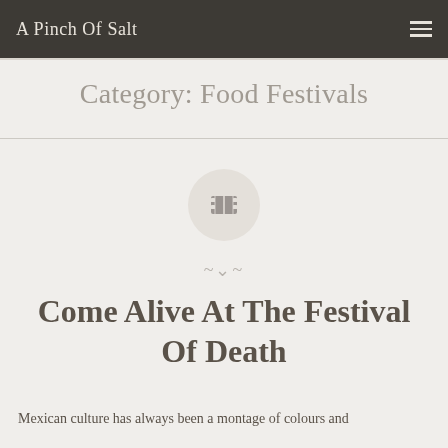A Pinch Of Salt
Category: Food Festivals
[Figure (illustration): A circular icon with a film strip symbol in grey on a light grey background]
Come Alive At The Festival Of Death
Mexican culture has always been a montage of colours and